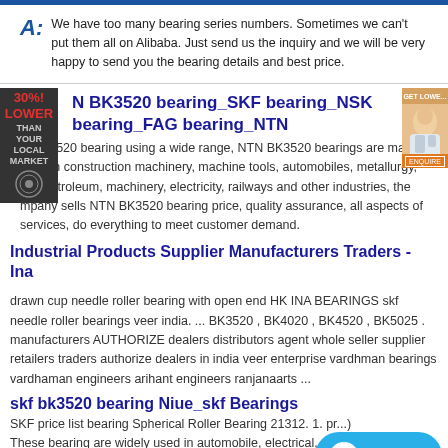A: We have too many bearing series numbers. Sometimes we can't put them all on Alibaba. Just send us the inquiry and we will be very happy to send you the bearing details and best price.
N BK3520 bearing_SKF bearing_NSK bearing_FAG bearing_NTN
N BK3520 bearing using a wide range, NTN BK3520 bearings are mainly used in construction machinery, machine tools, automobiles, metallurgy, ing, petroleum, machinery, electricity, railways and other industries, the mpany sells NTN BK3520 bearing price, quality assurance, all aspects of services, do everything to meet customer demand.
Industrial Products Supplier Manufacturers Traders - Ina
drawn cup needle roller bearing with open end HK INA BEARINGS skf needle roller bearings veer india. ... BK3520 , BK4020 , BK4520 , BK5025 . manufacturers AUTHORIZE dealers distributors agent whole seller supplier retailers traders authorize dealers in india veer enterprise vardhman bearings vardhaman engineers arihant engineers ranjanaarts ...
skf bk3520 bearing Niue_skf Bearings
SKF price list bearing Spherical Roller Bearing 21312. 1. pr... These bearing are widely used in automobile, electrical, (Home appliances;